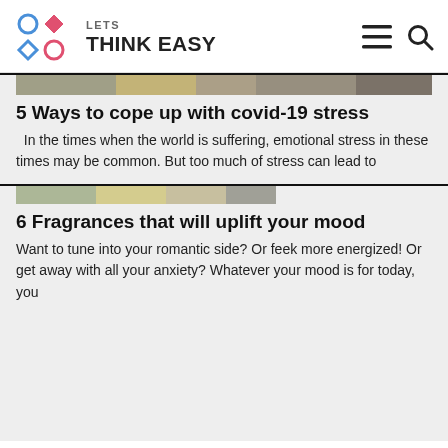[Figure (logo): Lets Think Easy logo with colorful diamond/circle shapes and text]
[Figure (photo): Article thumbnail image strip for covid-19 stress article]
5 Ways to cope up with covid-19 stress
In the times when the world is suffering, emotional stress in these times may be common. But too much of stress can lead to
[Figure (photo): Article thumbnail image strip for fragrances article]
6 Fragrances that will uplift your mood
Want to tune into your romantic side? Or feek more energized! Or get away with all your anxiety? Whatever your mood is for today, you